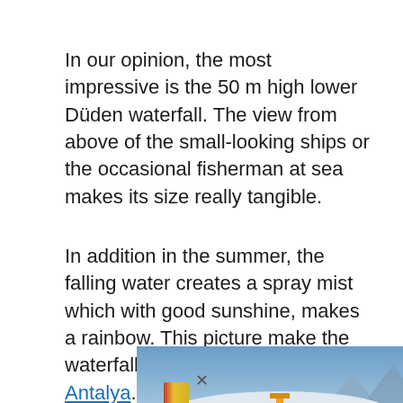In our opinion, the most impressive is the 50 m high lower Düden waterfall. The view from above of the small-looking ships or the occasional fisherman at sea makes its size really tangible.
In addition in the summer, the falling water creates a spray mist which with good sunshine, makes a rainbow. This picture make the waterfall one of the top sights in Antalya.
[Figure (photo): Advertisement banner showing a cargo plane being loaded at an airport with text overlay reading 'WITHOUT REGARD TO POLITICS, RELIGION OR ABILITY TO PAY']